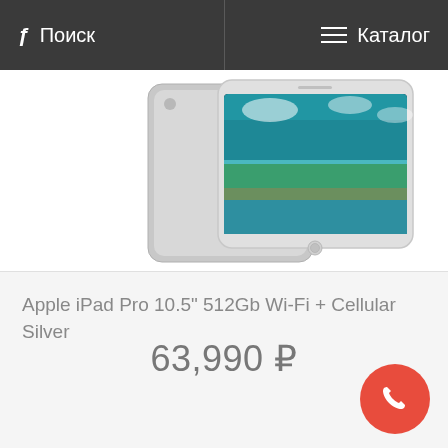Поиск | Каталог
[Figure (photo): Apple iPad Pro 10.5 inch product photo showing two iPads (front and back), silver color, running iOS with a nature wallpaper]
Apple iPad Pro 10.5″ 512Gb Wi-Fi + Cellular Silver
63,990 ₽